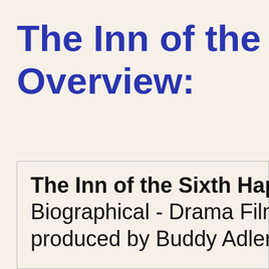The Inn of the Si... Overview:
The Inn of the Sixth Hap... Biographical - Drama Film... produced by Buddy Adler...